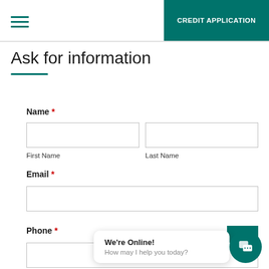CREDIT APPLICATION
Ask for information
Name *
First Name
Last Name
Email *
Phone *
We're Online! How may I help you today?